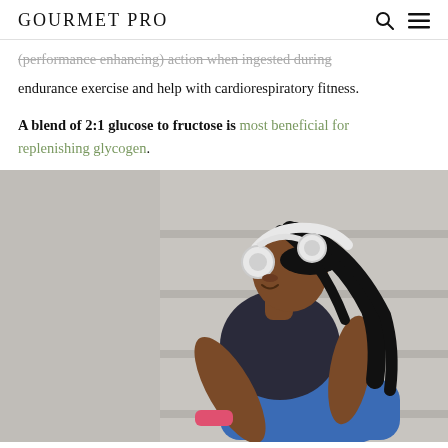GOURMET PRO
(performance enhancing) action when ingested during endurance exercise and help with cardiorespiratory fitness.
A blend of 2:1 glucose to fructose is most beneficial for replenishing glycogen.
[Figure (photo): A Black woman athlete wearing white headphones and a blue sports bra, leaning forward in an exercise pose on concrete steps. She has long black braids and holds a pink object (possibly a phone or water bottle).]